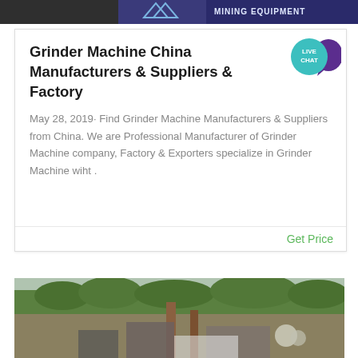[Figure (photo): Top banner image showing mining equipment branding with dark blue background, a logo with triangular shapes, and text 'MINING EQUIPMENT']
Grinder Machine China Manufacturers & Suppliers & Factory
[Figure (infographic): Live chat bubble icon — teal circle with 'LIVE CHAT' text and purple speech bubble shape]
May 28, 2019· Find Grinder Machine Manufacturers & Suppliers from China. We are Professional Manufacturer of Grinder Machine company, Factory & Exporters specialize in Grinder Machine wiht .
Get Price
[Figure (photo): Outdoor photo of industrial/mining construction site with green trees in background, metal structures and equipment in foreground]